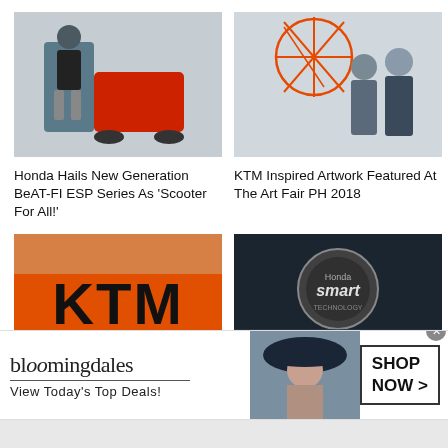[Figure (photo): Person standing next to a red Honda scooter at an event]
Honda Hails New Generation BeAT-FI ESP Series As 'Scooter For All!'
[Figure (photo): Two men posing in front of an orange KTM wire art sculpture at Art Fair PH 2018]
KTM Inspired Artwork Featured At The Art Fair PH 2018
[Figure (photo): Close-up of KTM orange logo signage]
KTM Philippines Inaugurates New Motorcycle Plant In
[Figure (photo): Honda Smart Technology exhibit with person posing, The Lifestyle Portal watermark]
Honda Smart Technology To Fuel The Success Of New Generation BeAT-FI
[Figure (photo): Bloomingdales advertisement banner - View Today's Top Deals! SHOP NOW >]